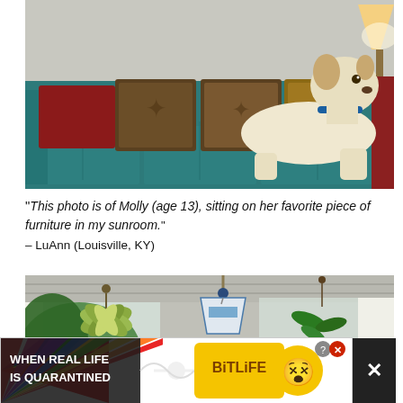[Figure (photo): A white dog with a blue collar sitting on a teal/blue sofa with colorful pillows including red and brown patterned cushions. A lamp is visible in the background on the right.]
“This photo is of Molly (age 13), sitting on her favorite piece of furniture in my sunroom.”
– LuAnn (Louisville, KY)
[Figure (photo): Interior sunroom view with hanging plants including spider plants and red flowering plants, a decorative stained glass pendant lamp, and windows with white curtains and greenery outside.]
[Figure (screenshot): Advertisement banner for BitLife game showing rainbow rays, text 'WHEN REAL LIFE IS QUARANTINED' in bold, a cartoon emoji face with star eyes, and a close button. Dark X button on far right.]